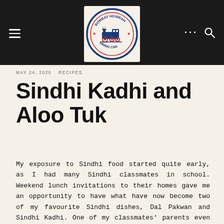[Figure (logo): Bombay Howrah Dining Car circular logo with train illustration, dark blue and red on cream background]
MAY 24, 2020  RECIPES
Sindhi Kadhi and Aloo Tuk
My exposure to Sindhi food started quite early, as I had many Sindhi classmates in school. Weekend lunch invitations to their homes gave me an opportunity to have what have now become two of my favourite Sindhi dishes, Dal Pakwan and Sindhi Kadhi. One of my classmates' parents even invited our family over